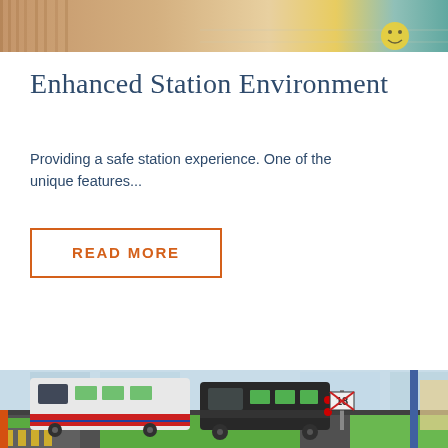[Figure (photo): Top portion of a photo showing an indoor station environment with wooden chairs and yellow emoji/face element on tile floor]
Enhanced Station Environment
Providing a safe station experience. One of the unique features...
READ MORE
[Figure (illustration): 3D rendered illustration of a train station environment showing two locomotive trains (one white with red/blue/white stripes styled like Amtrak, one black) on tracks with green grass areas, a railroad crossing sign showing '18', platform with yellow safety markings, and various station infrastructure]